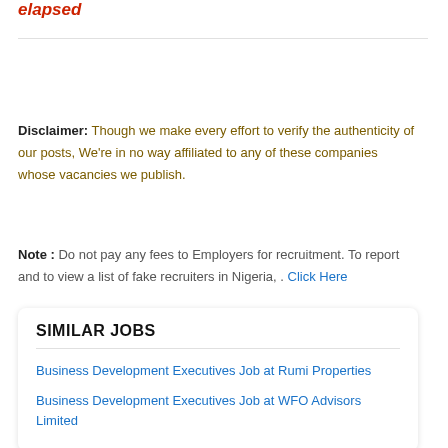elapsed
Disclaimer: Though we make every effort to verify the authenticity of our posts, We're in no way affiliated to any of these companies whose vacancies we publish.
Note : Do not pay any fees to Employers for recruitment. To report and to view a list of fake recruiters in Nigeria, . Click Here
SIMILAR JOBS
Business Development Executives Job at Rumi Properties
Business Development Executives Job at WFO Advisors Limited